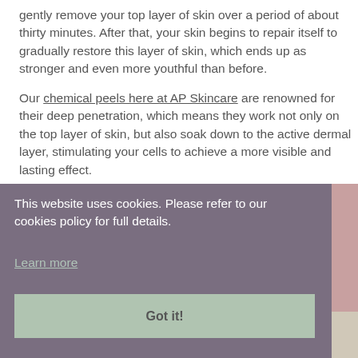gently remove your top layer of skin over a period of about thirty minutes. After that, your skin begins to repair itself to gradually restore this layer of skin, which ends up as stronger and even more youthful than before.
Our chemical peels here at AP Skincare are renowned for their deep penetration, which means they work not only on the top layer of skin, but also soak down to the active dermal layer, stimulating your cells to achieve a more visible and lasting effect.
This website uses cookies. Please refer to our cookies policy for full details. Learn more
[Figure (photo): Partial view of a close-up skin photo visible to the right of the cookie banner overlay]